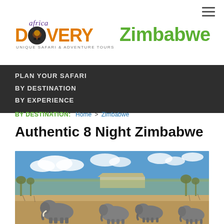[Figure (logo): Africa Discovery logo with orange DISCOVERY text, circular wildlife emblem, italic purple 'africa' text above, tagline 'UNIQUE SAFARI & ADVENTURE TOURS' below, and 'Zimbabwe' in green to the right]
PLAN YOUR SAFARI
BY DESTINATION
BY EXPERIENCE
BY DESTINATION: Home > Zimbabwe
Authentic 8 Night Zimbabwe
[Figure (photo): Safari camp with tents visible in background, four elephants walking in dry brushland scrub in foreground, blue sky with white clouds above]